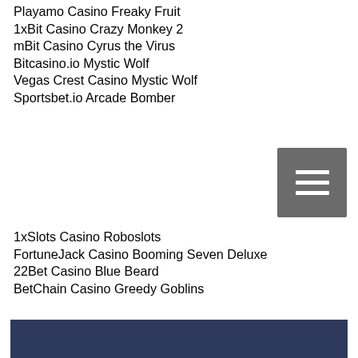Playamo Casino Freaky Fruit
1xBit Casino Crazy Monkey 2
mBit Casino Cyrus the Virus
Bitcasino.io Mystic Wolf
Vegas Crest Casino Mystic Wolf
Sportsbet.io Arcade Bomber
1xSlots Casino Roboslots
FortuneJack Casino Booming Seven Deluxe
22Bet Casino Blue Beard
BetChain Casino Greedy Goblins
https://www.yoursignaturefit.com/profile/mauritajonker3798296/profile
https://www.fehmaleeskitchen.co.uk/profile/robbypesavento8834136/profile
https://www.lightoflifefilms.com/profile/emilehirpara17962552/profile
https://www.sorellaveganeats.ca/profile/edelmiraoldani12743118/profile